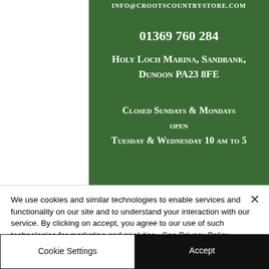INFO@CROOTSCOUNTRYSTORE.COM
01369 760 284
Holy Loch Marina, Sandbank, Dunoon PA23 8FE
Closed Sundays & Mondays open Tuesday & Wednesday 10 am to 5
We use cookies and similar technologies to enable services and functionality on our site and to understand your interaction with our service. By clicking on accept, you agree to our use of such technologies for marketing and analytics. See Privacy Policy
Cookie Settings
Accept